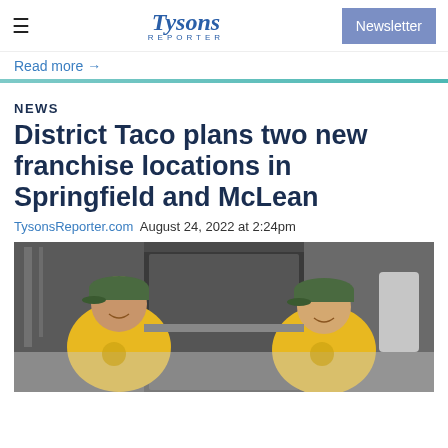≡  Tysons Reporter  Newsletter
Read more →
NEWS
District Taco plans two new franchise locations in Springfield and McLean
TysonsReporter.com  August 24, 2022 at 2:24pm
[Figure (photo): Two men in yellow shirts and baseball caps smiling from inside a food truck window]